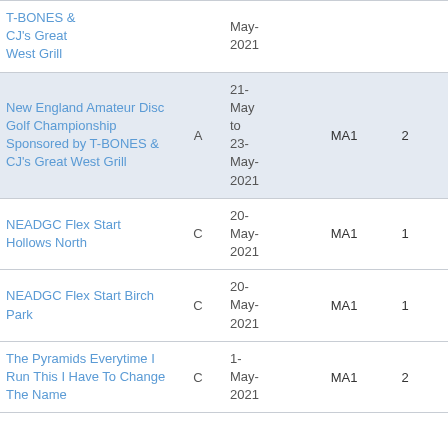| Event | Tier | Date | Division | Rounds | Players | Rating |
| --- | --- | --- | --- | --- | --- | --- |
| T-BONES & CJ's Great West Grill |  | May-2021 |  |  |  |  |
| New England Amateur Disc Golf Championship Sponsored by T-BONES & CJ's Great West Grill | A | 21-May to 23-May-2021 | MA1 | 2 | 59 | 917 |
| NEADGC Flex Start Hollows North | C | 20-May-2021 | MA1 | 1 | 55 | 922 |
| NEADGC Flex Start Birch Park | C | 20-May-2021 | MA1 | 1 | 53 | 922 |
| The Pyramids Everytime I Run This I Have To Change The Name | C | 1-May-2021 | MA1 | 2 | 79 | 870 |